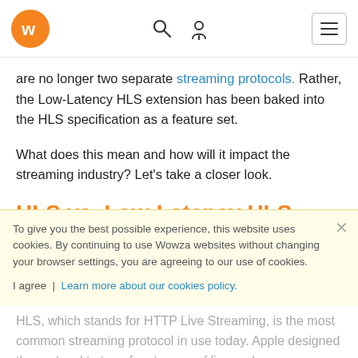[Wowza logo] [Search icon] [User icon] [Menu]
are no longer two separate streaming protocols. Rather, the Low-Latency HLS extension has been baked into the HLS specification as a feature set.
What does this mean and how will it impact the streaming industry? Let's take a closer look.
HLS vs. Low-Latency HLS
Before diving in, it helps to clarify the basics. So, what is HLS and how did it relate to Low-Latency HLS prior to this development?
To give you the best possible experience, this website uses cookies. By continuing to use Wowza websites without changing your browser settings, you are agreeing to our use of cookies.
I agree | Learn more about our cookies policy.
HLS
HLS, which stands for HTTP Live Streaming, is the most common streaming protocol in use today. Apple designed the protocol to transfer streams of live and on-